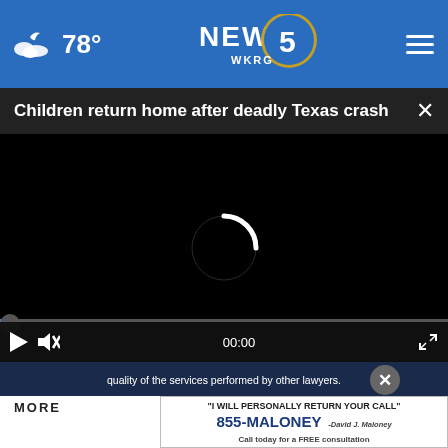78° NEWS 5 WKRG
Children return home after deadly Texas crash
[Figure (screenshot): Video player showing a loading spinner on a black background with video controls (play button, mute icon, timestamp 00:00, fullscreen icon) at the bottom]
quality of the services performed by other lawyers.
MORE
[Figure (photo): Maloney-Lyons LLC attorney advertisement: "I WILL PERSONALLY RETURN YOUR CALL" 855-MALONEY, David J. Maloney, Call today for a FREE consultation]